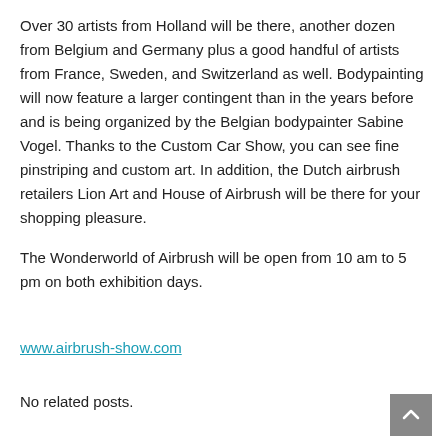Over 30 artists from Holland will be there, another dozen from Belgium and Germany plus a good handful of artists from France, Sweden, and Switzerland as well. Bodypainting will now feature a larger contingent than in the years before and is being organized by the Belgian bodypainter Sabine Vogel. Thanks to the Custom Car Show, you can see fine pinstriping and custom art. In addition, the Dutch airbrush retailers Lion Art and House of Airbrush will be there for your shopping pleasure.
The Wonderworld of Airbrush will be open from 10 am to 5 pm on both exhibition days.
www.airbrush-show.com
No related posts.